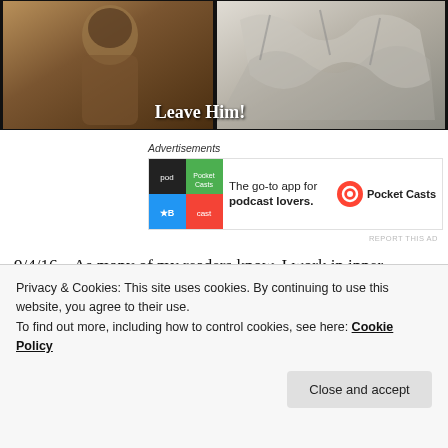[Figure (photo): Hero image split: left side shows a person in rough clothing (religious/historical figure), right side shows a classical engraving of figures in chaotic scene. Text overlay reads 'Leave Him!']
Advertisements
[Figure (screenshot): Advertisement for Pocket Casts app: colorful quadrant logo icon, text 'The go-to app for podcast lovers.' with Pocket Casts brand name and circular logo]
REPORT THIS AD
9/4/16 – As many of my readers know, I work in inner-healing and deliverance ministry.  Most people have not been taught the critical tools of spiritual warfare and are unaware of the power dark forces can exert on us or the ultimate power through the blood of Yeshua Jesus that
Privacy & Cookies: This site uses cookies. By continuing to use this website, you agree to their use.
To find out more, including how to control cookies, see here: Cookie Policy
Close and accept
demonstrates and explains basic spiritual warfare tools in